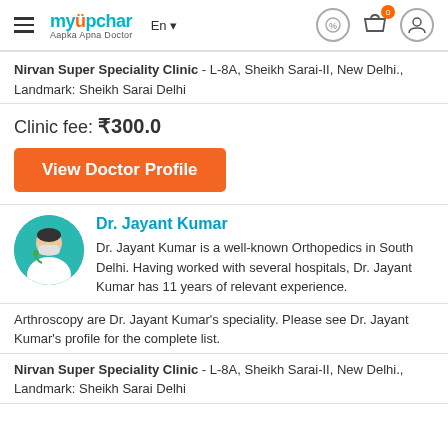myUpchar Aapka Apna Doctor | En | icons
Nirvan Super Speciality Clinic - L-8A, Sheikh Sarai-II, New Delhi., Landmark: Sheikh Sarai Delhi
Clinic fee: ₹300.0
View Doctor Profile
Dr. Jayant Kumar
Dr. Jayant Kumar is a well-known Orthopedics in South Delhi. Having worked with several hospitals, Dr. Jayant Kumar has 11 years of relevant experience.
Arthroscopy are Dr. Jayant Kumar's speciality. Please see Dr. Jayant Kumar's profile for the complete list.
Nirvan Super Speciality Clinic - L-8A, Sheikh Sarai-II, New Delhi., Landmark: Sheikh Sarai Delhi